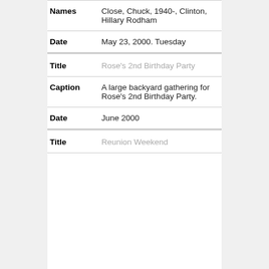| Field | Value |
| --- | --- |
| Names | Close, Chuck, 1940-, Clinton, Hillary Rodham |
| Date | May 23, 2000. Tuesday |
| Title | Rose's 2nd Birthday Party |
| Caption | A large backyard gathering for Rose's 2nd Birthday Party. |
| Date | June 2000 |
| Title | Reunion Weekend |